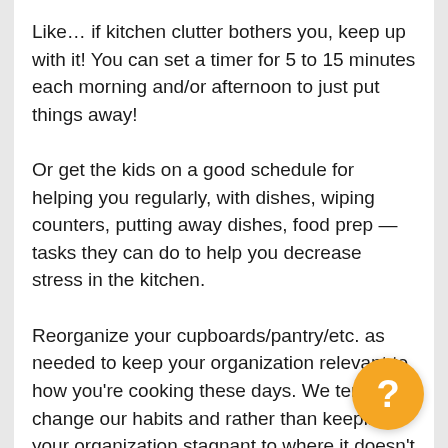Like… if kitchen clutter bothers you, keep up with it! You can set a timer for 5 to 15 minutes each morning and/or afternoon to just put things away!
Or get the kids on a good schedule for helping you regularly, with dishes, wiping counters, putting away dishes, food prep — tasks they can do to help you decrease stress in the kitchen.
Reorganize your cupboards/pantry/etc. as needed to keep your organization relevant to how you're cooking these days. We tend to change our habits and rather than keeping your organization stagnant to where it doesn't work anymore and you don't have what you need and things aren't where you need them and your cupboards are full of things you don't use
[Figure (other): Orange circular help button with white question mark]